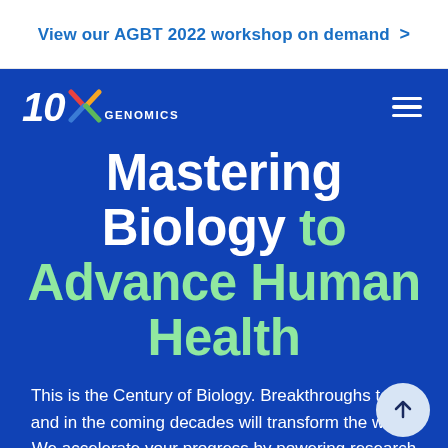View our AGBT 2022 workshop on demand >
[Figure (logo): 10x Genomics logo with colored X and white GENOMICS text on blue background]
Mastering Biology to Advance Human Health
This is the Century of Biology. Breakthroughs today and in the coming decades will transform the world. We accelerate your progress by powering research across the life sciences with single cell, spatial, and in